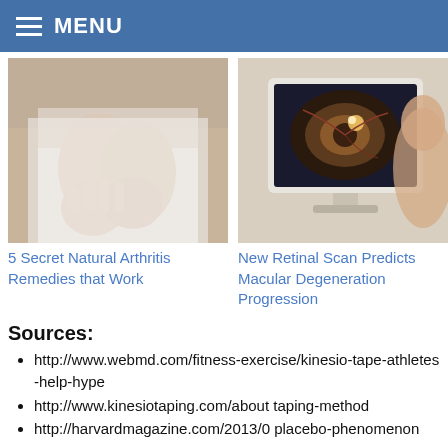MENU
[Figure (photo): Person rubbing/examining their wrist and hand, suggesting arthritis pain]
5 Secret Natural Arthritis Remedies that Work
[Figure (photo): Medical professional performing a retinal scan on a patient using a computer monitor]
New Retinal Scan Predicts Macular Degeneration Progression
Sources:
http://www.webmd.com/fitness-exercise/kinesio-tape-athletes-help-hype
http://www.kinesiotaping.com/about taping-method
http://harvardmagazine.com/2013/0 placebo-phenomenon